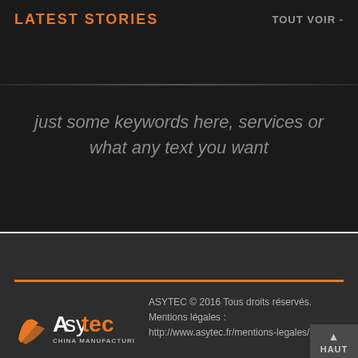LATEST STORIES
TOUT VOIR -
just some keywords here, services or what any text you want
[Figure (logo): Asytec China Manufacturing logo with orange swoosh graphic]
ASYTEC © 2016 Tous droits réservés. Mentions légales : http://www.asytec.fr/mentions-legales/
HAUT